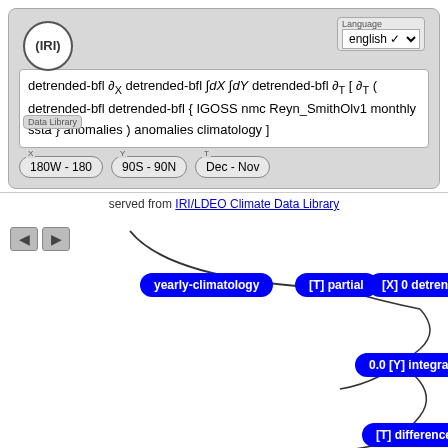[Figure (screenshot): IRI Data Library web interface showing a formula query panel with language selector, formula expression, coordinate range pills (180W-180, 90S-90N, Dec-Nov), and a flow diagram of operations: yearly-climatology, [T] partial, [X] 0 detrend-bfl, 0.0 [Y] integrate, [T] differences, 0.0 [X] integrate, [T] differences, [X T] 0 detrend-bfl. Served from IRI/LDEO Climate Data Library link shown.]